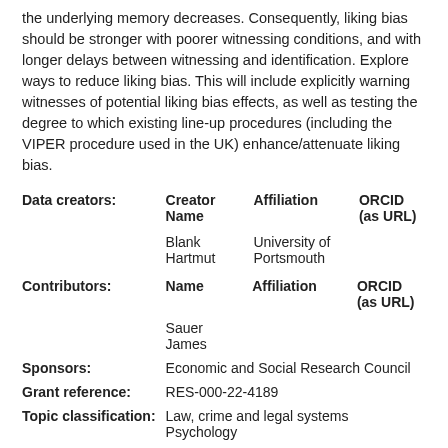the underlying memory decreases. Consequently, liking bias should be stronger with poorer witnessing conditions, and with longer delays between witnessing and identification. Explore ways to reduce liking bias. This will include explicitly warning witnesses of potential liking bias effects, as well as testing the degree to which existing line-up procedures (including the VIPER procedure used in the UK) enhance/attenuate liking bias.
|  | Creator Name | Affiliation | ORCID (as URL) |
| --- | --- | --- | --- |
| Data creators: | Blank Hartmut | University of Portsmouth |  |
| Contributors: | Sauer James |  |  |
|  | Name | Affiliation | ORCID (as URL) |
| Sponsors: | Economic and Social Research Council |  |  |
| Grant reference: | RES-000-22-4189 |  |  |
| Topic classification: | Law, crime and legal systems
Psychology |  |  |
| Date published: | 13 Mar 2013 11:13 |  |  |
| Last modified: | 12 Jul 2017 10:02 |  |  |